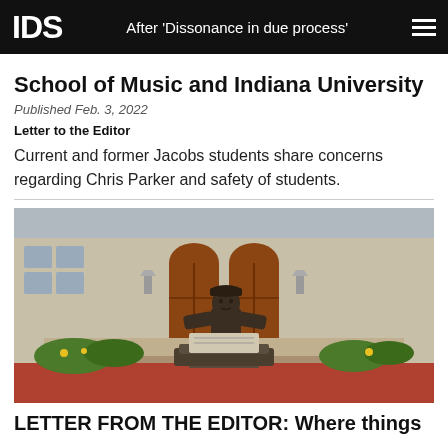IDS | After 'Dissonance in due process'
School of Music and Indiana University
Published Feb. 3, 2022
Letter to the Editor
Current and former Jacobs students share concerns regarding Chris Parker and safety of students.
[Figure (photo): Bronze statue of a person working at a printing press or typewriter, set in front of a stone university building with arched wooden doors and landscaped gardens.]
LETTER FROM THE EDITOR: Where things